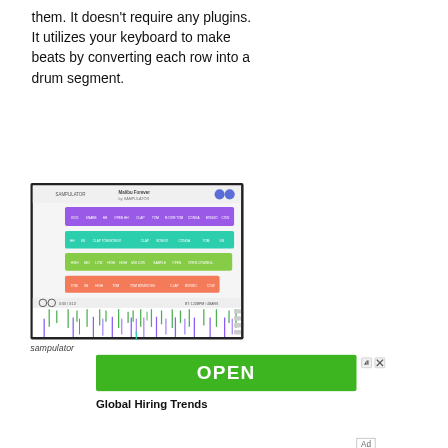them. It doesn't require any plugins. It utilizes your keyboard to make beats by converting each row into a drum segment.
[Figure (screenshot): Screenshot of the Sampulator web application showing colorful horizontal bands (purple, teal, green, orange) representing drum rows, with a sequencer grid and waveform display at the bottom.]
sampulator
[Figure (other): Green OPEN button advertisement]
Global Hiring Trends
Ad